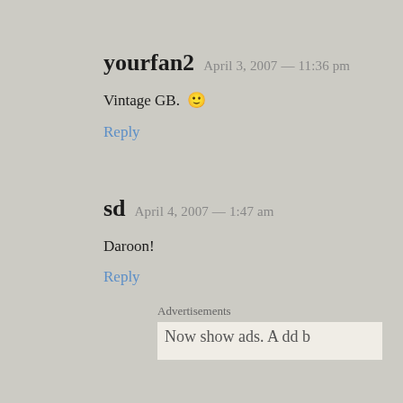yourfan2  April 3, 2007 — 11:36 pm
Vintage GB. 🙂
Reply
sd  April 4, 2007 — 1:47 am
Daroon!
Reply
Advertisements
Now show ads. A dd b